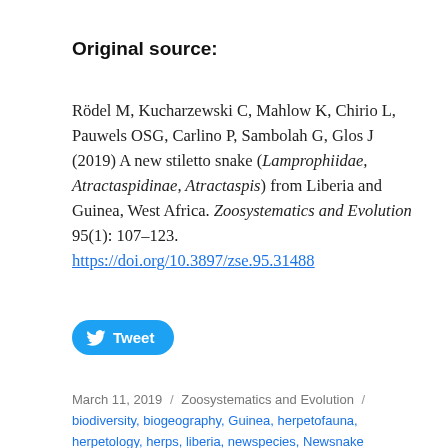Original source:
Rödel M, Kucharzewski C, Mahlow K, Chirio L, Pauwels OSG, Carlino P, Sambolah G, Glos J (2019) A new stiletto snake (Lamprophiidae, Atractaspidinae, Atractaspis) from Liberia and Guinea, West Africa. Zoosystematics and Evolution 95(1): 107–123. https://doi.org/10.3897/zse.95.31488
[Figure (other): Tweet button with Twitter bird logo]
March 11, 2019 / Zoosystematics and Evolution / biodiversity, biogeography, Guinea, herpetofauna, herpetology, herps, liberia, newspecies, Newsnake